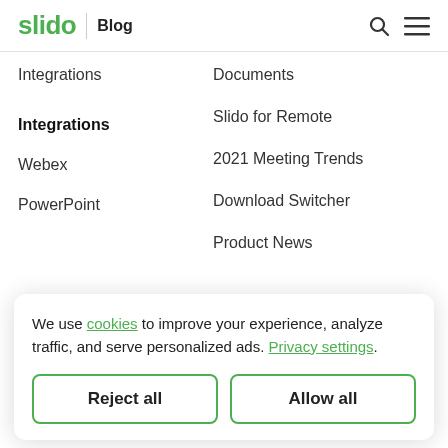slido | Blog
Integrations
Integrations
Webex
PowerPoint
Documents
Slido for Remote
2021 Meeting Trends
Download Switcher
Product News
We use cookies to improve your experience, analyze traffic, and serve personalized ads. Privacy settings.